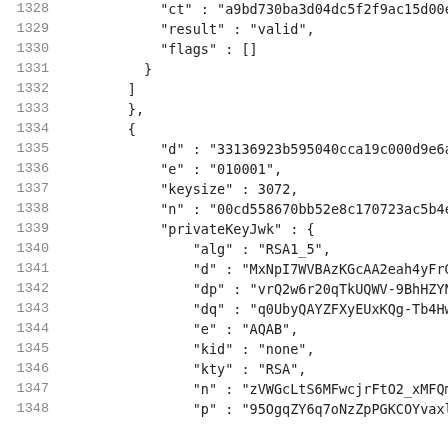Code listing lines 1328-1348 showing JSON/cryptographic test data structure with fields ct, result, flags, d, e, keysize, n, privateKeyJwk containing alg, d, dp, dq, e, kid, kty, n, p fields.